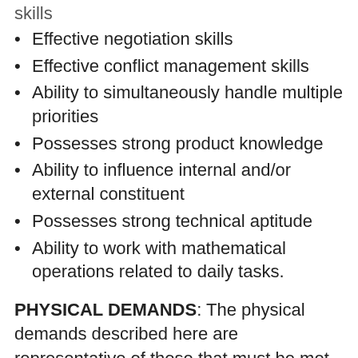skills
Effective negotiation skills
Effective conflict management skills
Ability to simultaneously handle multiple priorities
Possesses strong product knowledge
Ability to influence internal and/or external constituent
Possesses strong technical aptitude
Ability to work with mathematical operations related to daily tasks.
PHYSICAL DEMANDS: The physical demands described here are representative of those that must be met by an employee in order to successfully perform the essential functions of this job. Reasonable accommodations may be